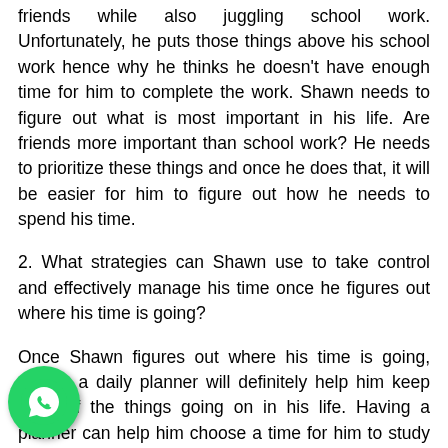friends while also juggling school work. Unfortunately, he puts those things above his school work hence why he thinks he doesn't have enough time for him to complete the work. Shawn needs to figure out what is most important in his life. Are friends more important than school work? He needs to prioritize these things and once he does that, it will be easier for him to figure out how he needs to spend his time.
2. What strategies can Shawn use to take control and effectively manage his time once he figures out where his time is going?
Once Shawn figures out where his time is going, getting a daily planner will definitely help him keep track of the things going on in his life. Having a planner can help him choose a time for him to study or do his school work, pick a time for friends, and for his family as well. It also very important to take breaks. In The Pocket Guide to College cess, Shusan states that overworking your brain can make you become stressed and tired. Take a short break
[Figure (logo): WhatsApp logo icon - green circle with white phone handset]